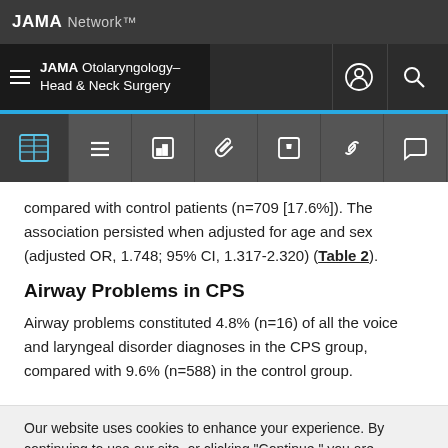JAMA Network — JAMA Otolaryngology–Head & Neck Surgery
compared with control patients (n=709 [17.6%]). The association persisted when adjusted for age and sex (adjusted OR, 1.748; 95% CI, 1.317-2.320) (Table 2).
Airway Problems in CPS
Airway problems constituted 4.8% (n=16) of all the voice and laryngeal disorder diagnoses in the CPS group, compared with 9.6% (n=588) in the control group.
Our website uses cookies to enhance your experience. By continuing to use our site, or clicking "Continue," you are agreeing to our Cookie Policy | Continue